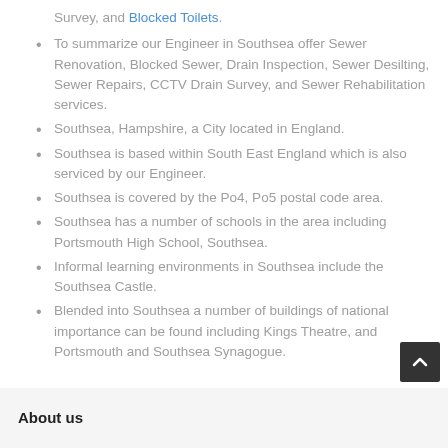Survey, and Blocked Toilets.
To summarize our Engineer in Southsea offer Sewer Renovation, Blocked Sewer, Drain Inspection, Sewer Desilting, Sewer Repairs, CCTV Drain Survey, and Sewer Rehabilitation services.
Southsea, Hampshire, a City located in England.
Southsea is based within South East England which is also serviced by our Engineer.
Southsea is covered by the Po4, Po5 postal code area.
Southsea has a number of schools in the area including Portsmouth High School, Southsea.
Informal learning environments in Southsea include the Southsea Castle.
Blended into Southsea a number of buildings of national importance can be found including Kings Theatre, and Portsmouth and Southsea Synagogue.
About us